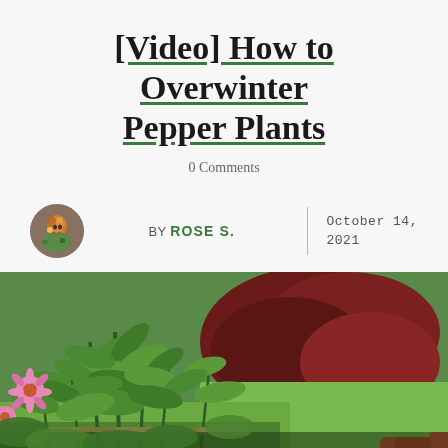[Video] How to Overwinter Pepper Plants
0 Comments
BY ROSE S. | October 14, 2021
[Figure (photo): Garden photo showing green pepper plants in foreground with pink flowers, dark red foliage and a blue bucket in the background on a lawn, with red-handled pruning shears visible at bottom right]